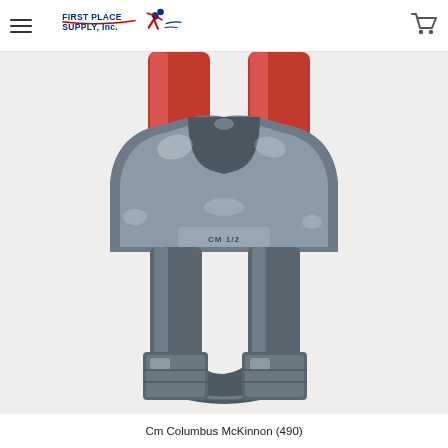First Place Supply, Inc.
[Figure (photo): Close-up photo of a galvanized metal wire rope clip / U-bolt clamp with a saddle and two nuts, gripping a red-painted steel bar or cable. The hardware is heavy-duty cast iron, zinc/galvanized finish, shot against a white background.]
Cm Columbus McKinnon (490)